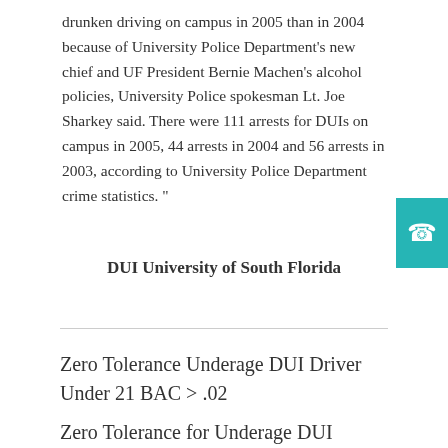drunken driving on campus in 2005 than in 2004 because of University Police Department's new chief and UF President Bernie Machen's alcohol policies, University Police spokesman Lt. Joe Sharkey said. There were 111 arrests for DUIs on campus in 2005, 44 arrests in 2004 and 56 arrests in 2003, according to University Police Department crime statistics. "
DUI University of South Florida
Zero Tolerance Underage DUI Driver Under 21 BAC > .02
Zero Tolerance for Underage DUI